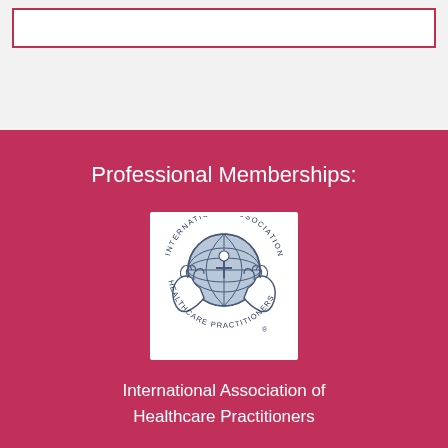[Figure (logo): International Association of Healthcare Practitioners logo — a globe held by two hands with a figure above, circular text reading INTERNATIONAL ASSOCIATION HEALTHCARE PRACTITIONERS with registered trademark symbol]
Professional Memberships:
International Association of Healthcare Practitioners